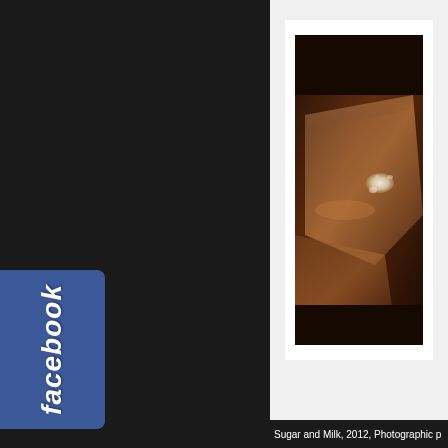[Figure (logo): Facebook logo button on dark background, blue rounded rectangle with white italic bold 'facebook' text written vertically]
[Figure (photo): A sepia-toned photographic print showing a close-up of ice cubes in a glass or container, with a small white element (possibly sugar) on one of the ice cubes, displayed as a print on white background within a light gray panel]
Sugar and Milk, 2012, Photographic p